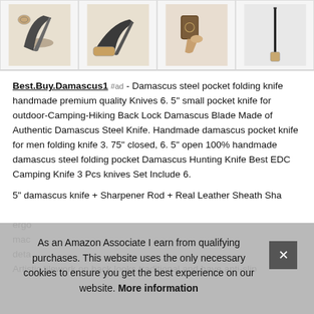[Figure (photo): Four product images of Damascus steel folding pocket knives in a horizontal row]
Best.Buy.Damascus1 #ad - Damascus steel pocket folding knife handmade premium quality Knives 6. 5" small pocket knife for outdoor-Camping-Hiking Back Lock Damascus Blade Made of Authentic Damascus Steel Knife. Handmade damascus pocket knife for men folding knife 3. 75" closed, 6. 5" open 100% handmade damascus steel folding pocket Damascus Hunting Knife Best EDC Camping Knife 3 Pcs knives Set Include 6.
5" damascus knife + Sharpener Rod + Real Leather Sheath Sha ergo mac deta
Artistic tilework on back looks traditional and have anti-slip
As an Amazon Associate I earn from qualifying purchases. This website uses the only necessary cookies to ensure you get the best experience on our website. More information